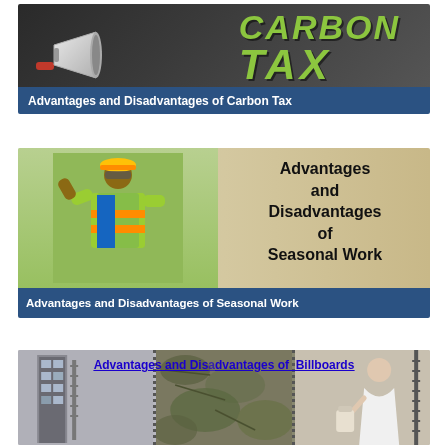[Figure (illustration): Carbon Tax banner image: dark chalkboard background with megaphone on left and bold italic green text reading 'CARBON TAX' on right]
Advantages and Disadvantages of Carbon Tax
[Figure (photo): A construction worker in yellow-green safety vest and orange hard hat looking stressed with hand on forehead; background blurred. Right side shows bold black text: 'Advantages and Disadvantages of Seasonal Work']
Advantages and Disadvantages of Seasonal Work
[Figure (photo): Three-panel billboard advertisement image showing buildings and textures in three columns separated by dotted lines. Blue underlined heading text 'Advantages and Disadvantages of Billboards' overlaid across the top.]